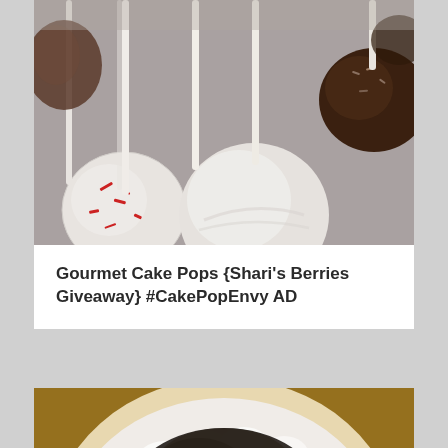[Figure (photo): Cake pops on sticks — white chocolate coated with red sprinkles and a dark chocolate coated one, close-up shot]
Gourmet Cake Pops {Shari's Berries Giveaway} #CakePopEnvy AD
[Figure (photo): Top-down view of a pie or cake with white whipped cream topping and crushed dark Oreo cookie crumbles, with a whole Oreo cookie visible]